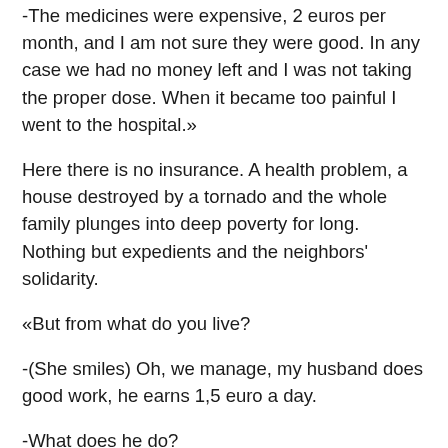-The medicines were expensive, 2 euros per month, and I am not sure they were good. In any case we had no money left and I was not taking the proper dose. When it became too painful I went to the hospital.»
Here there is no insurance. A health problem, a house destroyed by a tornado and the whole family plunges into deep poverty for long. Nothing but expedients and the neighbors' solidarity.
«But from what do you live?
-(She smiles) Oh, we manage, my husband does good work, he earns 1,5 euro a day.
-What does he do?
-(Smile again) He is a child laborer.